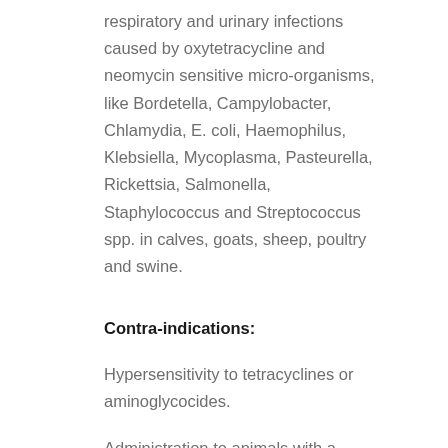respiratory and urinary infections caused by oxytetracycline and neomycin sensitive micro-organisms, like Bordetella, Campylobacter, Chlamydia, E. coli, Haemophilus, Klebsiella, Mycoplasma, Pasteurella, Rickettsia, Salmonella, Staphylococcus and Streptococcus spp. in calves, goats, sheep, poultry and swine.
Contra-indications:
Hypersensitivity to tetracyclines or aminoglycocides.
Administration to animals with a seriously impaired renal and/or hepatic function.